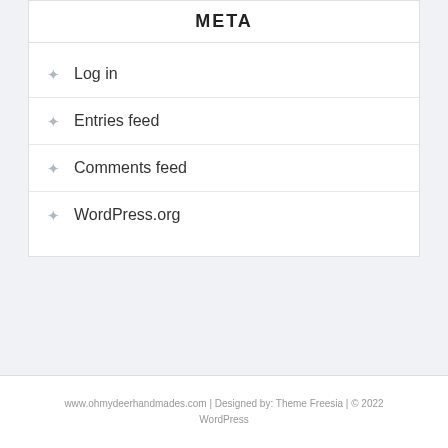META
Log in
Entries feed
Comments feed
WordPress.org
www.ohmydeerhandmades.com | Designed by: Theme Freesia | © 2022 WordPress